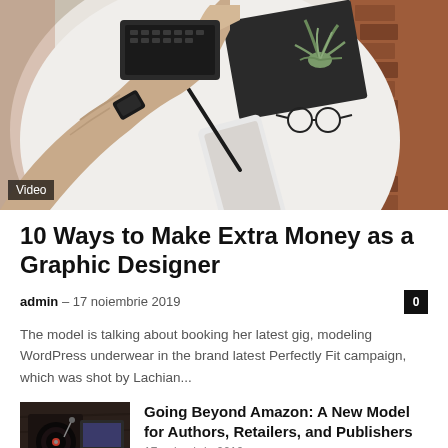[Figure (photo): Overhead/flat-lay view of hands typing on a laptop on a white round table with a plant, glasses, stylus, and marble-patterned phone.]
Video
10 Ways to Make Extra Money as a Graphic Designer
admin  –  17 noiembrie 2019
The model is talking about booking her latest gig, modeling WordPress underwear in the brand latest Perfectly Fit campaign, which was shot by Lachian...
[Figure (photo): Thumbnail of a workspace with a turntable/record player and a laptop from an overhead view.]
Going Beyond Amazon: A New Model for Authors, Retailers, and Publishers
17 noiembrie 2019